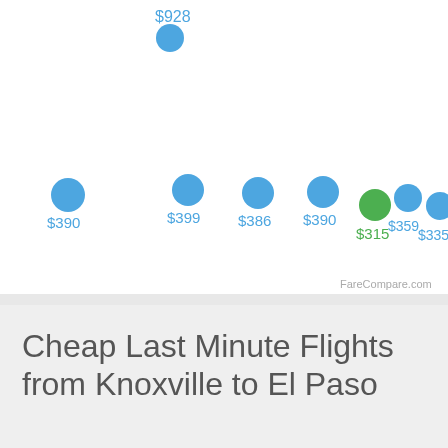[Figure (scatter-plot): Scatter plot of flight prices shown as colored dots. One dot labeled $928 appears at top. Seven dots in mid-lower region labeled $390, $399, $386, $390, $315 (green), $359, $335. FareCompare.com watermark bottom right.]
Cheap Last Minute Flights from Knoxville to El Paso